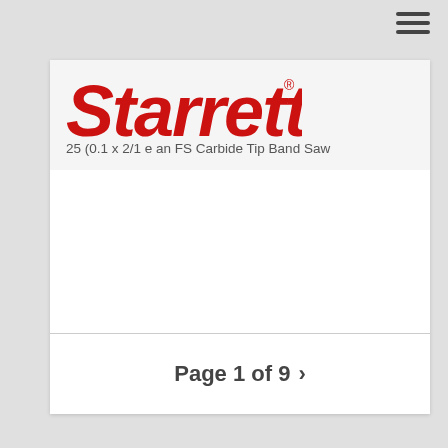[Figure (logo): Starrett red script logo with registered trademark symbol]
25 (0.1 x 2/1 e an FS Carbide Tip Band Saw
Page 1 of 9 ›